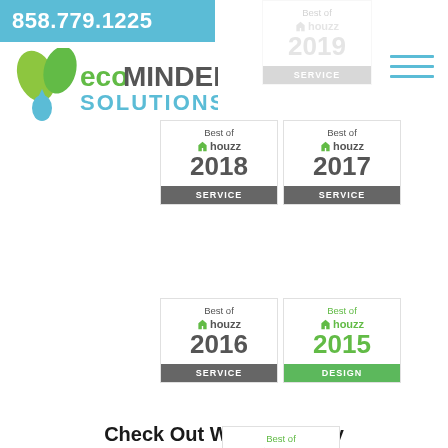858.779.1225
[Figure (logo): Eco Minded Solutions logo with green leaf and blue water drop]
[Figure (illustration): Hamburger menu icon (three horizontal blue lines)]
[Figure (illustration): Best of Houzz 2019 SERVICE badge (faded/ghosted)]
[Figure (illustration): Best of Houzz 2018 SERVICE badge]
[Figure (illustration): Best of Houzz 2017 SERVICE badge]
[Figure (illustration): Best of Houzz 2016 SERVICE badge]
[Figure (illustration): Best of Houzz 2015 DESIGN badge (green)]
[Figure (illustration): Best of Houzz 2014 DESIGN badge (green)]
Check Out What A Happy